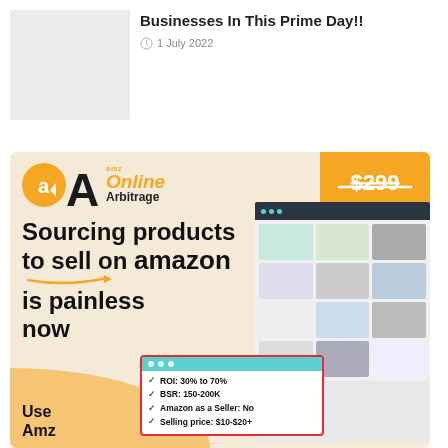[Figure (photo): Gray placeholder thumbnail for article image]
Businesses In This Prime Day!!
1 July 2022
[Figure (illustration): AMZ Online Arbitrage advertisement banner. Orange and beige colored. Shows logo with orange circle 'a' and large black 'A', 'amz Online Arbitrage' text, ribbon badge showing '$299' struck through with 'FOREVER FREE', tagline 'Sourcing products to sell on amazon is painless now', checklist with ROI: 30% to 70%, BSR: 150-200K, Amazon as a Seller: No, Selling price: $10-$20+, and a product grid screenshot on right. Bottom left says 'Use Amz']